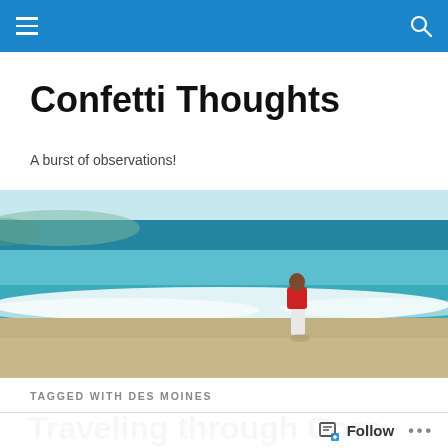Confetti Thoughts – navigation bar with hamburger menu and search icon
Confetti Thoughts
A burst of observations!
[Figure (photo): Wide beach scene with turquoise ocean waves and a person in a red top standing at the shoreline, viewed from behind.]
TAGGED WITH DES MOINES
Traveling through Corn Country!
Follow  •••